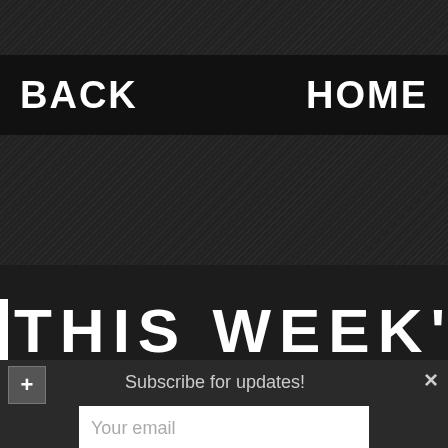BACK    HOME
| THIS WEEK'S
Subscribe for updates!
Your email
Submit!